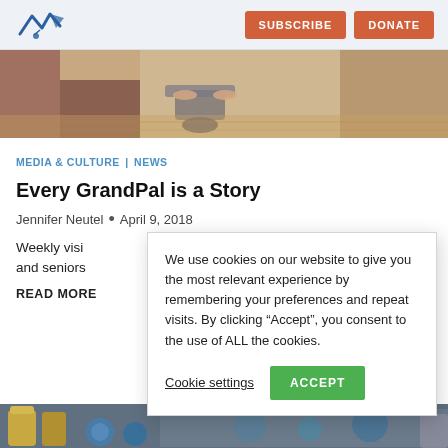SUBSCRIBE | DONATE
[Figure (photo): Close-up of elderly person's hands on wheelchair armrests, with another person visible to the left]
MEDIA & CULTURE | NEWS
Every GrandPal is a Story
Jennifer Neutel • April 9, 2018
Weekly visi and seniors
READ MORE
We use cookies on our website to give you the most relevant experience by remembering your preferences and repeat visits. By clicking “Accept”, you consent to the use of ALL the cookies.
Cookie settings   ACCEPT
[Figure (photo): Bottom strip showing partial image with cylinders and circular objects]